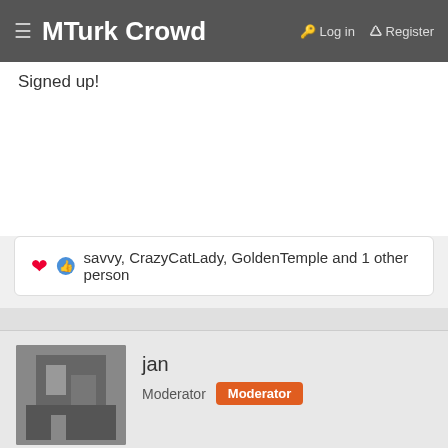MTurk Crowd  Log in  Register
Signed up!
❤ 👍 savvy, CrazyCatLady, GoldenTemple and 1 other person
jan
Moderator  Moderator
Oct 28, 2019  #10
[Figure (illustration): Row of colorful pixel-art alien/creature emojis in various colors (brown, pink/purple, red, cyan, orange, yellow-green, green)]